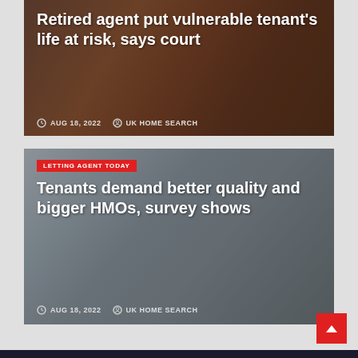[Figure (photo): News card with gavel/judge's hammer background image. Article about retired agent putting vulnerable tenant's life at risk.]
Retired agent put vulnerable tenant's life at risk, says court
AUG 18, 2022   UK HOME SEARCH
[Figure (photo): News card with architectural blueprints/floor plans background image. Article about tenants demanding better quality and bigger HMOs.]
LETTING AGENT TODAY
Tenants demand better quality and bigger HMOs, survey shows
AUG 18, 2022   UK HOME SEARCH